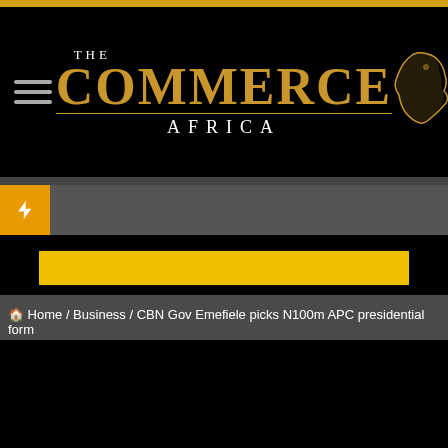[Figure (logo): The Commerce Africa logo with gold 'COMMERCE' text, white 'THE' and 'AFRICA' text, and Africa continent outline in gold on black background]
⚡
[Figure (other): Yellow/gold search bar input field]
🏠 Home / Business / CBN Gov Emefiele picks N100m APC presidential form